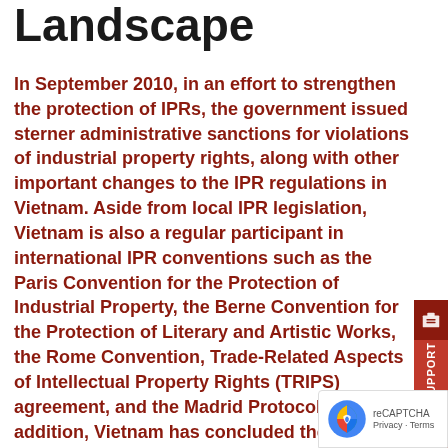Landscape
In September 2010, in an effort to strengthen the protection of IPRs, the government issued sterner administrative sanctions for violations of industrial property rights, along with other important changes to the IPR regulations in Vietnam. Aside from local IPR legislation, Vietnam is also a regular participant in international IPR conventions such as the Paris Convention for the Protection of Industrial Property, the Berne Convention for the Protection of Literary and Artistic Works, the Rome Convention, Trade-Related Aspects of Intellectual Property Rights (TRIPS) agreement, and the Madrid Protocol. In addition, Vietnam has concluded the negotiation of an FTA with.